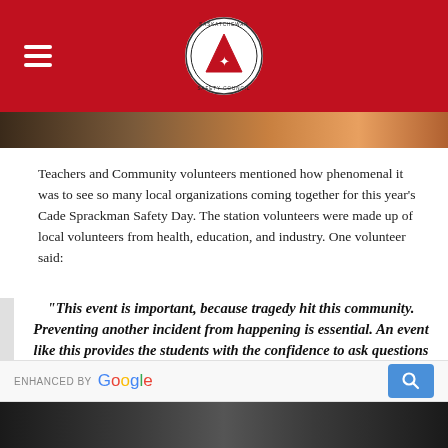[Figure (logo): Saskatchewan Safety Council logo — red circle with white triangle and maple leaf, on red header bar with hamburger menu icon]
[Figure (photo): Partial photo strip showing people at an event]
Teachers and Community volunteers mentioned how phenomenal it was to see so many local organizations coming together for this year's Cade Sprackman Safety Day. The station volunteers were made up of local volunteers from health, education, and industry. One volunteer said:
“This event is important, because tragedy hit this community. Preventing another incident from happening is essential. An event like this provides the students with the confidence to ask questions and realize that hazards are present in every workplace”.
[Figure (screenshot): Enhanced by Google search bar]
[Figure (photo): Partial photo strip at bottom of page]